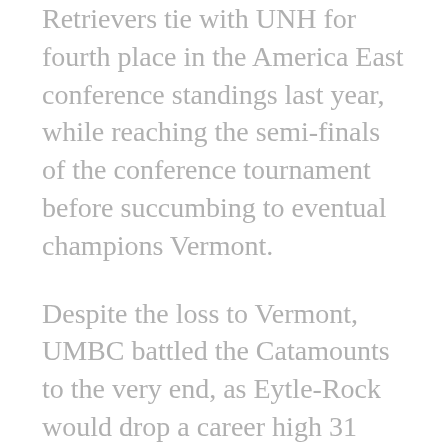Retrievers tie with UNH for fourth place in the America East conference standings last year, while reaching the semi-finals of the conference tournament before succumbing to eventual champions Vermont.
Despite the loss to Vermont, UMBC battled the Catamounts to the very end, as Eytle-Rock would drop a career high 31 points in what many Retriever fans believe to be his coming out party. If thatâ€™s truly the case, then Eytle-Rock will surely find himself at the top list come AE Player of the Year voting time.
Before that can happen Eytle-Rock has to prove that his performance against Vermont